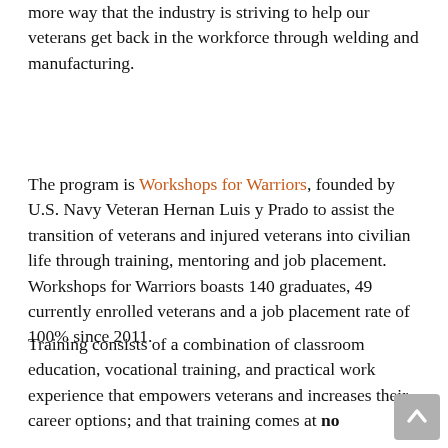more way that the industry is striving to help our veterans get back in the workforce through welding and manufacturing.
The program is Workshops for Warriors, founded by U.S. Navy Veteran Hernan Luis y Prado to assist the transition of veterans and injured veterans into civilian life through training, mentoring and job placement.  Workshops for Warriors boasts 140 graduates, 49 currently enrolled veterans and a job placement rate of 100% since 2011.
Training consists of a combination of classroom education, vocational training, and practical work experience that empowers veterans and increases their career options; and that training comes at no